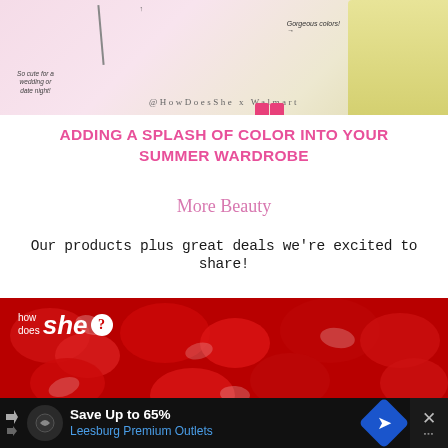[Figure (photo): Fashion photo showing clothing items with annotations 'So cute for a wedding or date night!' and 'Gorgeous colors!' with watermark '@HowDoesShe x Walmart']
ADDING A SPLASH OF COLOR INTO YOUR SUMMER WARDROBE
More Beauty
Our products plus great deals we're excited to share!
[Figure (photo): Red flower petals close-up photo with 'how does she?' logo overlay in white text]
[Figure (photo): Advertisement bar: Save Up to 65% Leesburg Premium Outlets with navigation arrows and close button]